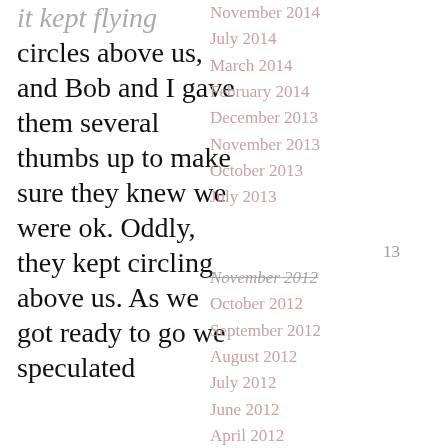it kept flying circles above us, and Bob and I gave them several thumbs up to make sure they knew we were ok. Oddly, they kept circling above us. As we got ready to go we speculated
November 2014
July 2014
March 2014
February 2014
December 2013
November 2013
October 2013
July 2013
13
November 2012
October 2012
September 2012
August 2012
July 2012
June 2012
April 2012
March 2012